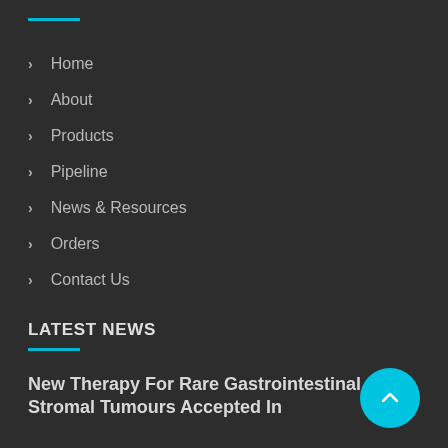Home
About
Products
Pipeline
News & Resources
Orders
Contact Us
LATEST NEWS
New Therapy For Rare Gastrointestinal Stromal Tumours Accepted In